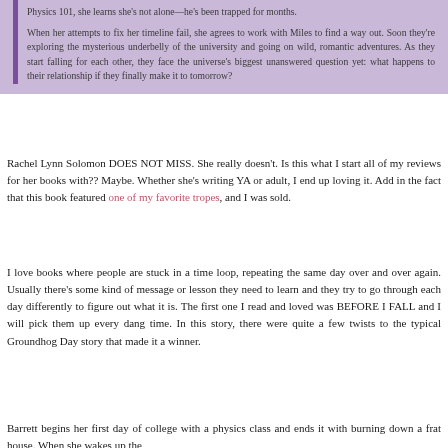Physics 101, she learns she's not alone—he's been trapped for months.

When her attempts to fix her timeline fail, she agrees to work with Miles to find a way out. Soon they're exploring the mysterious underbelly of the university and going on wild, romantic adventures. As they start falling for each other, they face the universe's biggest unanswered question yet: what happens to their relationship if they finally make it to tomorrow?
Rachel Lynn Solomon DOES NOT MISS. She really doesn't. Is this what I start all of my reviews for her books with?? Maybe. Whether she's writing YA or adult, I end up loving it. Add in the fact that this book featured one of my favorite tropes, and I was sold.
I love books where people are stuck in a time loop, repeating the same day over and over again. Usually there's some kind of message or lesson they need to learn and they try to go through each day differently to figure out what it is. The first one I read and loved was BEFORE I FALL and I will pick them up every dang time. In this story, there were quite a few twists to the typical Groundhog Day story that made it a winner.
Barrett begins her first day of college with a physics class and ends it with burning down a frat house. When she wakes up the